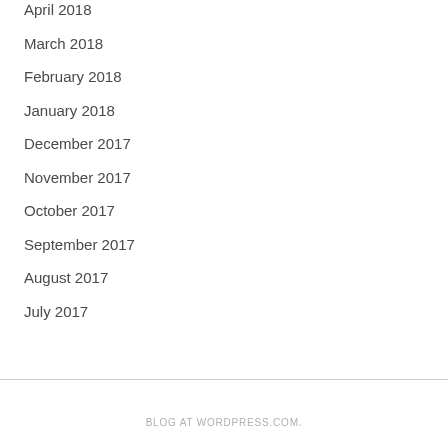April 2018
March 2018
February 2018
January 2018
December 2017
November 2017
October 2017
September 2017
August 2017
July 2017
BLOG AT WORDPRESS.COM.